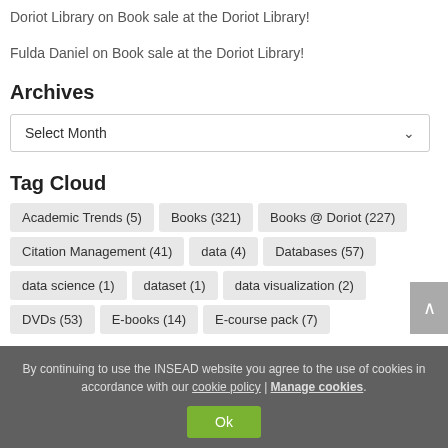Doriot Library on Book sale at the Doriot Library!
Fulda Daniel on Book sale at the Doriot Library!
Archives
Select Month
Tag Cloud
Academic Trends (5)
Books (321)
Books @ Doriot (227)
Citation Management (41)
data (4)
Databases (57)
data science (1)
dataset (1)
data visualization (2)
DVDs (53)
E-books (14)
E-course pack (7)
By continuing to use the INSEAD website you agree to the use of cookies in accordance with our cookie policy | Manage cookies.
Ok